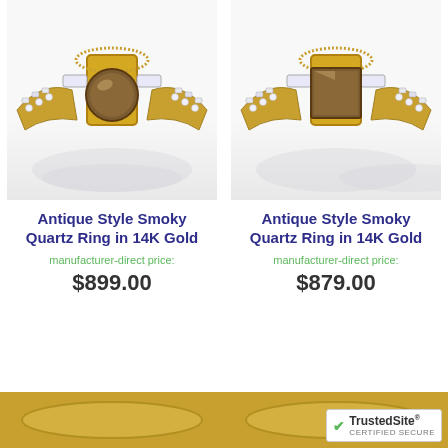[Figure (photo): Photo of Antique Style Smoky Quartz Ring in 14K Gold - round stone, left product]
[Figure (photo): Photo of Antique Style Smoky Quartz Ring in 14K Gold - square stone, right product]
Antique Style Smoky Quartz Ring in 14K Gold
manufacturer-direct price:
$899.00
Antique Style Smoky Quartz Ring in 14K Gold
manufacturer-direct price:
$879.00
[Figure (photo): Partial view of additional ring products at bottom of page]
[Figure (logo): TrustedSite Certified Secure badge]